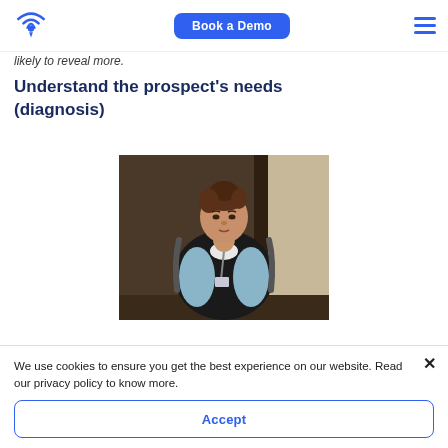Book a Demo
likely to reveal more.
Understand the prospect's needs (diagnosis)
[Figure (photo): A woman wearing a black vest over a light blue shirt with a lanyard and ID badge, carrying a backpack, standing in a doorway with a dark wood door and light wall behind her.]
We use cookies to ensure you get the best experience on our website. Read our privacy policy to know more.
Accept